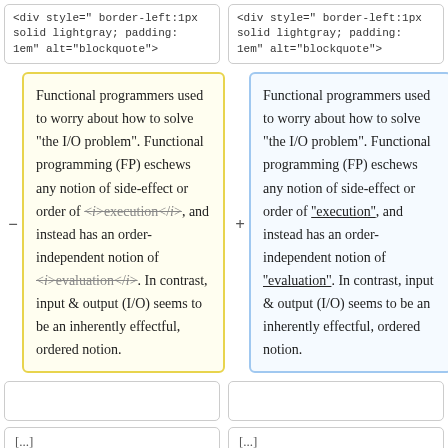<div style="border-left:1px solid lightgray; padding: 1em" alt="blockquote">
<div style="border-left:1px solid lightgray; padding: 1em" alt="blockquote">
Functional programmers used to worry about how to solve “the I/O problem”. Functional programming (FP) eschews any notion of side-effect or order of <i>execution</i>, and instead has an order-independent notion of <i>evaluation</i>. In contrast, input & output (I/O) seems to be an inherently effectful, ordered notion. [left/removed version]
Functional programmers used to worry about how to solve “the I/O problem”. Functional programming (FP) eschews any notion of side-effect or order of "execution", and instead has an order-independent notion of "evaluation". In contrast, input & output (I/O) seems to be an inherently effectful, ordered notion. [right/added version]
[...]
[...]